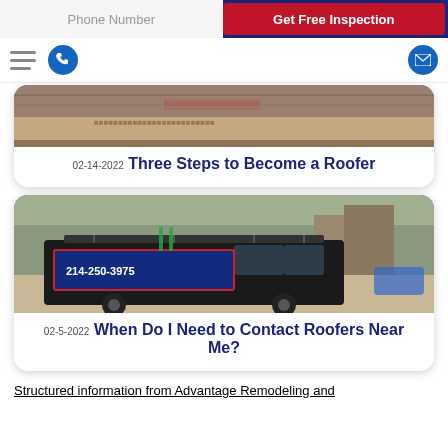Phone Number | Get Free Inspection
[Figure (screenshot): Navigation bar with hamburger menu, phone icon, and email icon]
[Figure (photo): Partial photo of roofing materials/underlayment with red markings]
02-14-2022 Three Steps to Become a Roofer
[Figure (photo): Photo of a black work truck/SUV with company branding and phone number 214-250-3975 on the side, parked in a residential driveway]
02-5-2022 When Do I Need to Contact Roofers Near Me?
Structured information from Advantage Remodeling and